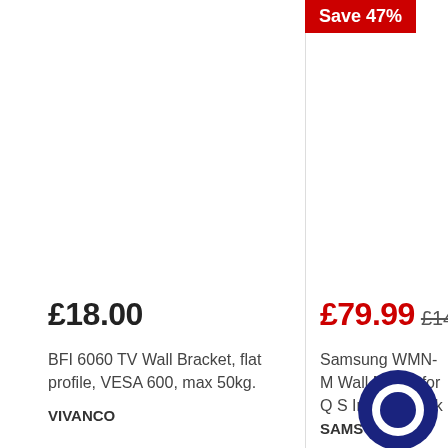Save 47%
£18.00
BFI 6060 TV Wall Bracket, flat profile, VESA 600, max 50kg.
VIVANCO
£79.99  £149.9...
Samsung WMN-M Wall Mount for Q ... Inches Black
SAMS...
[Figure (illustration): Dark navy blue circular chat/messenger icon with white ring in center, partially cropped]